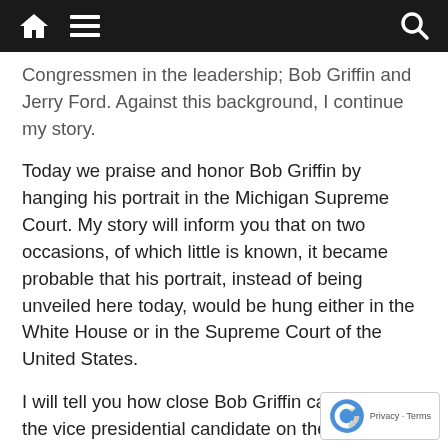[navigation bar with home, menu, and search icons]
Congressmen in the leadership; Bob Griffin and Jerry Ford. Against this background, I continue my story.
Today we praise and honor Bob Griffin by hanging his portrait in the Michigan Supreme Court. My story will inform you that on two occasions, of which little is known, it became probable that his portrait, instead of being unveiled here today, would be hung either in the White House or in the Supreme Court of the United States.
I will tell you how close Bob Griffin came to being the vice presidential candidate on the Nixon ticket in 1968. You will recall that George Romney made his bid for the presidency in 1968. Bob Griffin, through an appointment received from Governor Romney, was then a United States senator.